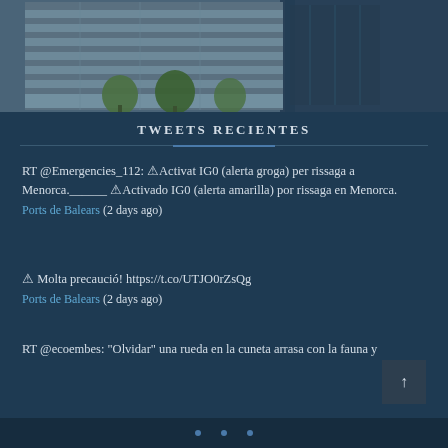[Figure (photo): Modern glass and steel office building with trees in front, partial view. Dark blue overlaid background on right side.]
TWEETS RECIENTES
RT @Emergencies_112: ⚠Activat IG0 (alerta groga) per rissaga a Menorca.______ ⚠Activado IG0 (alerta amarilla) por rissaga en Menorca.
Ports de Balears (2 days ago)
⚠ Molta precaució! https://t.co/UTJO0rZsQg
Ports de Balears (2 days ago)
RT @ecoembes: “Olvidar” una rueda en la cuneta arrasa con la fauna y